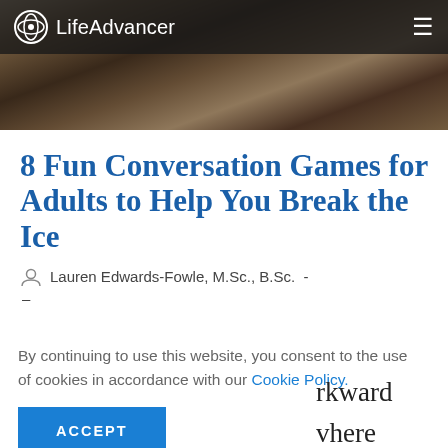LifeAdvancer
[Figure (photo): Background photo of hands over a table with a cupcake and coffee cup, dimly lit]
8 Fun Conversation Games for Adults to Help You Break the Ice
Lauren Edwards-Fowle, M.Sc., B.Sc. -
By continuing to use this website, you consent to the use of cookies in accordance with our Cookie Policy.
ACCEPT
rkward where an be